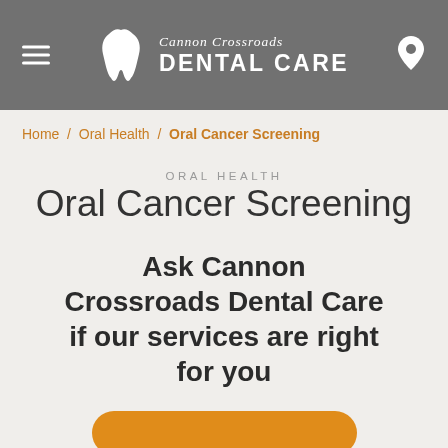Cannon Crossroads Dental Care
Home / Oral Health / Oral Cancer Screening
ORAL HEALTH
Oral Cancer Screening
Ask Cannon Crossroads Dental Care if our services are right for you